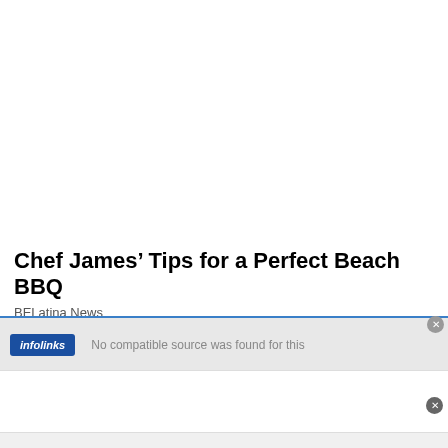Chef James’ Tips for a Perfect Beach BBQ
BELatina News
[Figure (screenshot): Infolinks video player bar showing 'No compatible source was found for this' message with a close button]
[Figure (screenshot): Oberto advertisement banner: play button, Oberto logo, text 'High in protein.' and a blue diamond arrow icon]